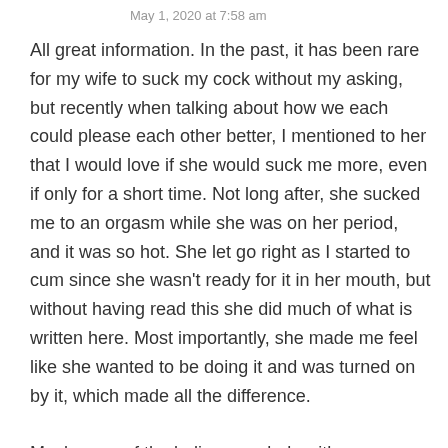May 1, 2020 at 7:58 am
All great information. In the past, it has been rare for my wife to suck my cock without my asking, but recently when talking about how we each could please each other better, I mentioned to her that I would love if she would suck me more, even if only for a short time. Not long after, she sucked me to an orgasm while she was on her period, and it was so hot. She let go right as I started to cum since she wasn't ready for it in her mouth, but without having read this she did much of what is written here. Most importantly, she made me feel like she wanted to be doing it and was turned on by it, which made all the difference.

Maybe one of the ladies, or a lady with